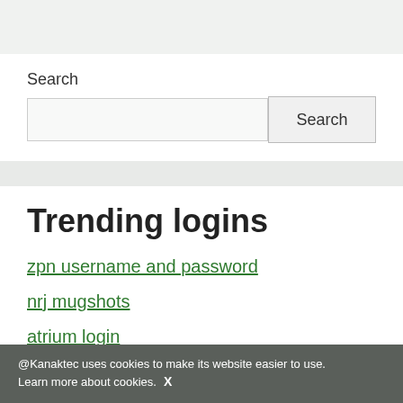Search
Search [input field and button]
Trending logins
zpn username and password
nrj mugshots
atrium login
anvato login
ezpassmd com
@Kanaktec uses cookies to make its website easier to use. Learn more about cookies. X